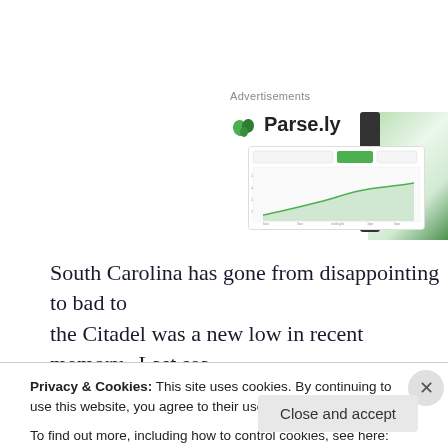Advertisements
[Figure (screenshot): Parse.ly advertisement banner with logo and dashboard screenshot showing analytics graph]
South Carolina has gone from disappointing to bad to the Citadel was a new low in recent memory.  Last sea before stumbling to a 6-6 regular season.  This year a
Privacy & Cookies: This site uses cookies. By continuing to use this website, you agree to their use.
To find out more, including how to control cookies, see here: Cookie Policy
Close and accept